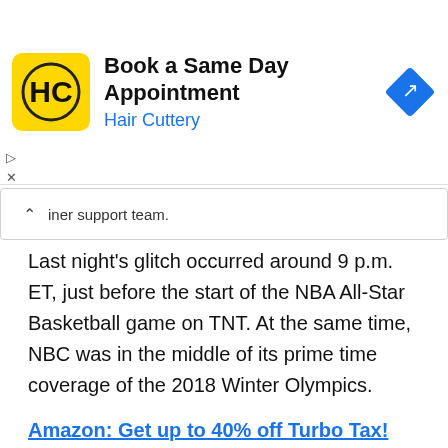[Figure (screenshot): Hair Cuttery advertisement banner with yellow logo icon, text 'Book a Same Day Appointment' and 'Hair Cuttery', and a blue diamond arrow icon on the right]
iner support team.
Last night’s glitch occurred around 9 p.m. ET, just before the start of the NBA All-Star Basketball game on TNT. At the same time, NBC was in the middle of its prime time coverage of the 2018 Winter Olympics.
Amazon: Get up to 40% off Turbo Tax!
The inability to login to watch these two highly-rated broadcasts caused thousands of Hulu subscribers to login to their favorite social media sites to express their